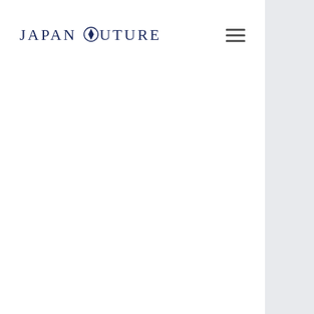JAPAN COUTURE
[Figure (other): Main content area — blank white space below the header navigation bar]